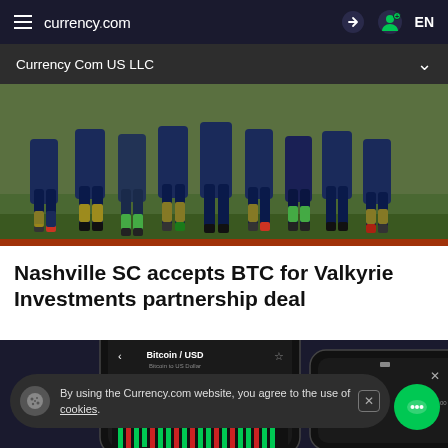currency.com  EN
Currency Com US LLC
[Figure (photo): Soccer players standing in a group on a field, wearing dark navy uniforms, with one player in green/light socks visible. Lower halves of players shown.]
Nashville SC accepts BTC for Valkyrie Investments partnership deal
[Figure (screenshot): Smartphone mockup showing a trading app with Bitcoin / USD chart, time 9:41, price around $200.00]
By using the Currency.com website, you agree to the use of cookies.